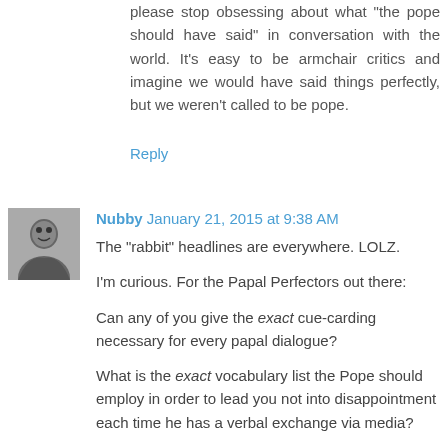please stop obsessing about what "the pope should have said" in conversation with the world. It's easy to be armchair critics and imagine we would have said things perfectly, but we weren't called to be pope.
Reply
Nubby  January 21, 2015 at 9:38 AM
The "rabbit" headlines are everywhere. LOLZ.
I'm curious. For the Papal Perfectors out there:
Can any of you give the exact cue-carding necessary for every papal dialogue?
What is the exact vocabulary list the Pope should employ in order to lead you not into disappointment each time he has a verbal exchange via media?
What is the precise list of words he needs to live and die by via your media coaching?